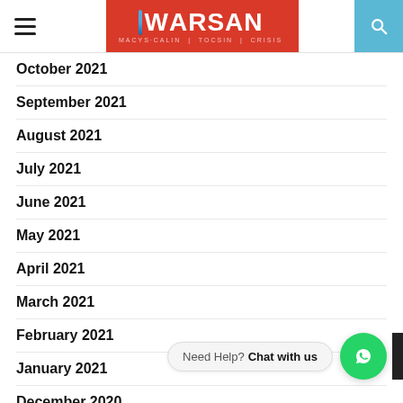WARSAN — navigation header with hamburger menu, logo, and search icon
October 2021
September 2021
August 2021
July 2021
June 2021
May 2021
April 2021
March 2021
February 2021
January 2021
December 2020
November 2020
October 2020
September 2020